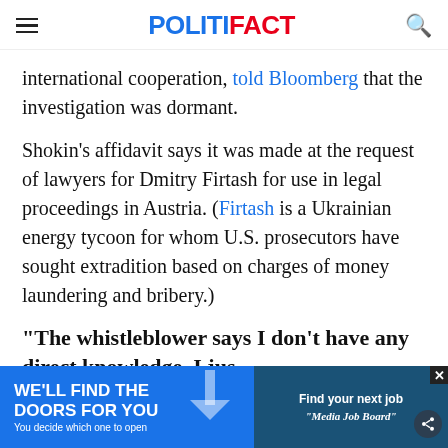POLITIFACT
international cooperation, told Bloomberg that the investigation was dormant.
Shokin’s affidavit says it was made at the request of lawyers for Dmitry Firtash for use in legal proceedings in Austria. (Firtash is a Ukrainian energy tycoon for whom U.S. prosecutors have sought extradition based on charges of money laundering and bribery.)
“The whistleblower says I don’t have any direct knowledge. I jus…
[Figure (screenshot): Advertisement banner: 'WE'LL FIND THE DOORS FOR YOU - You decide which one to open' alongside 'Find your next job - Media Job Board' with close and share buttons]